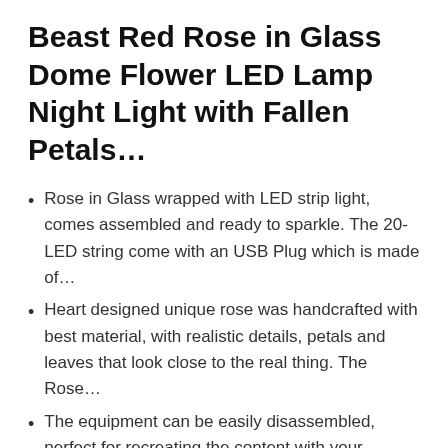Beast Red Rose in Glass Dome Flower LED Lamp Night Light with Fallen Petals…
Rose in Glass wrapped with LED strip light, comes assembled and ready to sparkle. The 20-LED string come with an USB Plug which is made of…
Heart designed unique rose was handcrafted with best material, with realistic details, petals and leaves that look close to the real thing. The Rose…
The equipment can be easily disassembled, perfect for recreating the content with your treasured collectibles or fairy lights for a truly magical…
Dimensions: 5.7″ x 9″ inc the glass dome and wooden base.